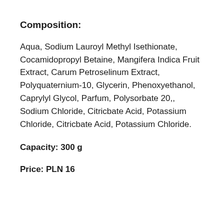Composition:
Aqua, Sodium Lauroyl Methyl Isethionate, Cocamidopropyl Betaine, Mangifera Indica Fruit Extract, Carum Petroselinum Extract, Polyquaternium-10, Glycerin, Phenoxyethanol, Caprylyl Glycol, Parfum, Polysorbate 20,, Sodium Chloride, Citricbate Acid, Potassium Chloride, Citricbate Acid, Potassium Chloride.
Capacity: 300 g
Price: PLN 16